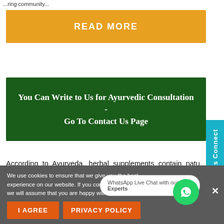...ring community...
READ MORE
You Can Write to Us for Ayurvedic Consultation - Go To Contact Us Page
According to Ayurveda, herbal supplements contain natural substances that are beneficial to the body. Her...
We use cookies to ensure that we give you the best experience on our website. If you continue to use this site we will assume that you are happy with it.
I AGREE
PRIVACY POLICY
WhatsApp Live Chat with our Experts